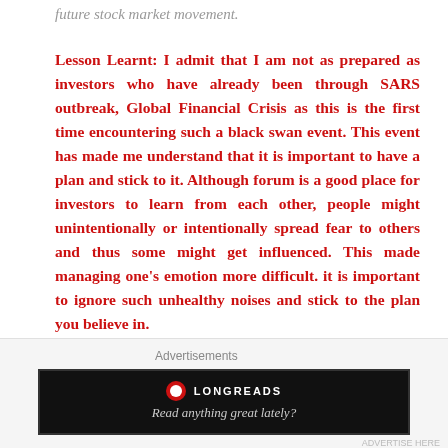future stock market movement.
Lesson Learnt: I admit that I am not as prepared as investors who have already been through SARS outbreak, Global Financial Crisis as this is the first time encountering such a black swan event. This event has made me understand that it is important to have a plan and stick to it. Although forum is a good place for investors to learn from each other, people might unintentionally or intentionally spread fear to others and thus some might get influenced. This made managing one's emotion more difficult. it is important to ignore such unhealthy noises and stick to the plan you believe in.
Advertisements
[Figure (screenshot): Longreads advertisement banner with logo and tagline 'Read anything great lately?']